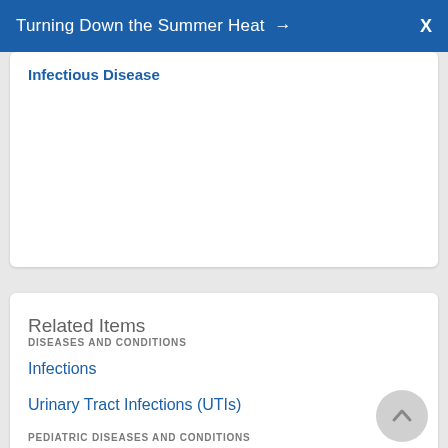Turning Down the Summer Heat → X
Infectious Disease
Related Items
DISEASES AND CONDITIONS
Infections
Urinary Tract Infections (UTIs)
PEDIATRIC DISEASES AND CONDITIONS
Gynecological Infections
Infection in Babies